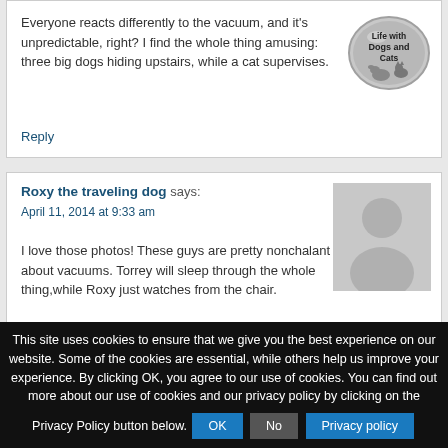Everyone reacts differently to the vacuum, and it's unpredictable, right? I find the whole thing amusing: three big dogs hiding upstairs, while a cat supervises.
Reply
[Figure (logo): Circular metallic badge/coin with text 'Life with Dogs and Cats' and an illustration of a dog and cat]
Roxy the traveling dog says: April 11, 2014 at 9:33 am
I love those photos! These guys are pretty nonchalant about vacuums. Torrey will sleep through the whole thing,while Roxy just watches from the chair.
[Figure (illustration): Default grey avatar silhouette of a person (head and shoulders)]
This site uses cookies to ensure that we give you the best experience on our website. Some of the cookies are essential, while others help us improve your experience. By clicking OK, you agree to our use of cookies. You can find out more about our use of cookies and our privacy policy by clicking on the Privacy Policy button below.